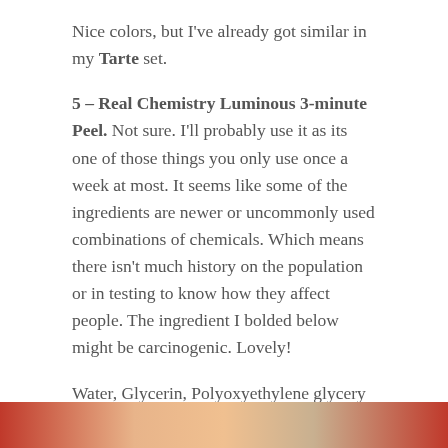Nice colors, but I've already got similar in my Tarte set.
5 – Real Chemistry Luminous 3-minute Peel. Not sure. I'll probably use it as its one of those things you only use once a week at most. It seems like some of the ingredients are newer or uncommonly used combinations of chemicals. Which means there isn't much history on the population or in testing to know how they affect people. The ingredient I bolded below might be carcinogenic. Lovely!
Water, Glycerin, Polyoxyethylene glycery ether?, Alkyl trimethyl ammonium chloride Carbomer?, Diazolidinyl urealodopropynyl Butylcarbamate?, PEG-40, Disodium EDTA, Hyaluronic acid.
[Figure (photo): Partial image of a beauty product or person, cropped at the bottom of the page, showing red and skin tones.]